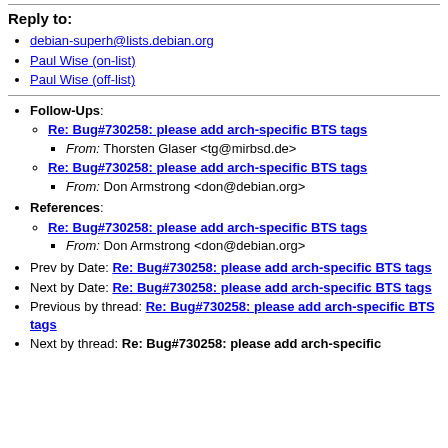Reply to:
debian-superh@lists.debian.org
Paul Wise (on-list)
Paul Wise (off-list)
Follow-Ups: Re: Bug#730258: please add arch-specific BTS tags — From: Thorsten Glaser <tg@mirbsd.de>; Re: Bug#730258: please add arch-specific BTS tags — From: Don Armstrong <don@debian.org>
References: Re: Bug#730258: please add arch-specific BTS tags — From: Don Armstrong <don@debian.org>
Prev by Date: Re: Bug#730258: please add arch-specific BTS tags
Next by Date: Re: Bug#730258: please add arch-specific BTS tags
Previous by thread: Re: Bug#730258: please add arch-specific BTS tags
Next by thread: Re: Bug#730258: please add arch-specific